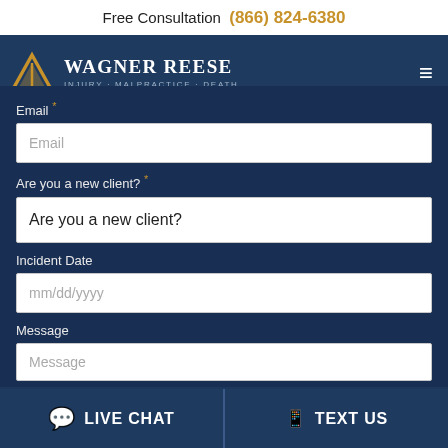Free Consultation (866) 824-6380
[Figure (logo): Wagner Reese law firm logo with triangle/pyramid icon and tagline Injury · Malpractice · Death]
Email *
Email (input placeholder)
Are you a new client? *
Are you a new client? (dropdown)
Incident Date
mm/dd/yyyy (input placeholder)
Message
Message (textarea placeholder)
LIVE CHAT   TEXT US